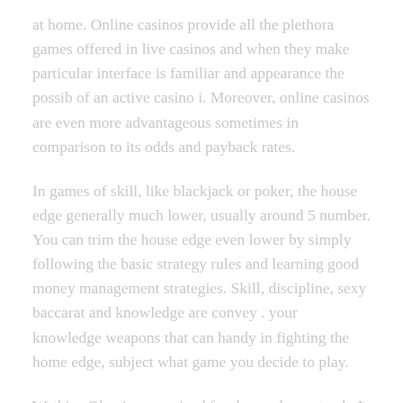at home. Online casinos provide all the plethora games offered in live casinos and when they make particular interface is familiar and appearance the possib of an active casino i. Moreover, online casinos are even more advantageous sometimes in comparison to its odds and payback rates.
In games of skill, like blackjack or poker, the house edge generally much lower, usually around 5 number. You can trim the house edge even lower by simply following the basic strategy rules and learning good money management strategies. Skill, discipline, sexy baccarat and knowledge are convey . your knowledge weapons that can handy in fighting the home edge, subject what game you decide to play.
Watkins Glen is recognized for the road-race track. It hosts several SCCA along with other races every year. Watkins Glen State Park boasts some for this most beautiful scenery, trails and camping in America. Cascading waterfalls (19 of them) drop the stream almost 400 feet along the two-mile route. Bring a swimming suit for the outdoor pool and hiking shoes for